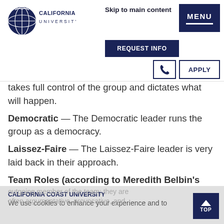California Coast University — Skip to main content | REQUEST INFO | MENU | Phone | APPLY
takes full control of the group and dictates what will happen.
Democratic — The Democratic leader runs the group as a democracy.
Laissez-Faire — The Laissez-Faire leader is very laid back in their approach.
Team Roles (according to Meredith Belbin's work on team roles or functions):
Shaper — The Shaper is a dynamic, outgoing member of the team; they are often argumentative, provocative, and
CALIFORNIA COAST UNIVERSITY
We use cookies to enhance your experience and to